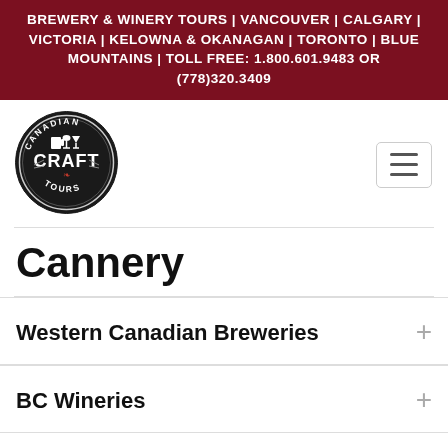BREWERY & WINERY TOURS | VANCOUVER | CALGARY | VICTORIA | KELOWNA & OKANAGAN | TORONTO | BLUE MOUNTAINS | TOLL FREE: 1.800.601.9483 OR (778)320.3409
[Figure (logo): Canadian Craft Tours circular logo with CRAFT text and beer/wine icons]
Cannery
Western Canadian Breweries
BC Wineries